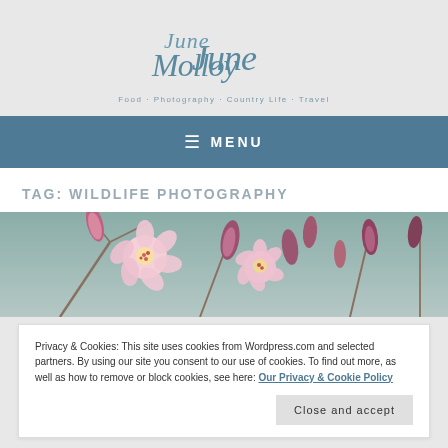[Figure (logo): June Molloy cursive script logo with tagline: Food · Photography · Country Life · Travel]
≡ MENU
TAG: WILDLIFE PHOTOGRAPHY
[Figure (photo): Close-up photograph of pink and white flower blossoms and buds on branches against a soft teal/grey background]
Privacy & Cookies: This site uses cookies from Wordpress.com and selected partners. By using our site you consent to our use of cookies. To find out more, as well as how to remove or block cookies, see here: Our Privacy & Cookie Policy
Close and accept